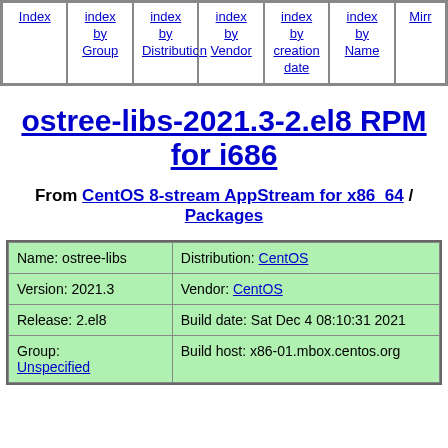Index | index by Group | index by Distribution | index by Vendor | index by creation date | index by Name | Mirrors
ostree-libs-2021.3-2.el8 RPM for i686
From CentOS 8-stream AppStream for x86_64 / Packages
| Name: ostree-libs | Distribution: CentOS |
| Version: 2021.3 | Vendor: CentOS |
| Release: 2.el8 | Build date: Sat Dec 4 08:10:31 2021 |
| Group:
Unspecified | Build host: x86-01.mbox.centos.org |